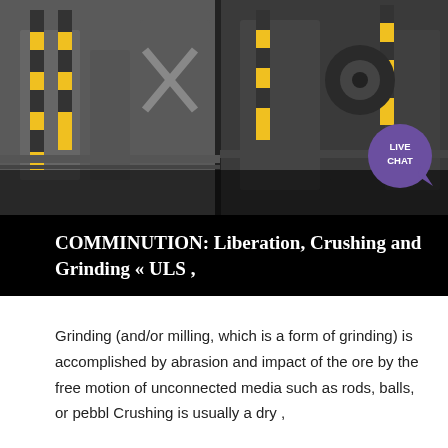[Figure (photo): Industrial machinery, crusher or grinding equipment in a facility, dark tones with yellow/black striped poles visible]
COMMINUTION: Liberation, Crushing and Grinding « ULS ,
Grinding (and/or milling, which is a form of grinding) is accomplished by abrasion and impact of the ore by the free motion of unconnected media such as rods, balls, or pebbl Crushing is usually a dry ,
[Figure (photo): Industrial equipment, partially visible at bottom of page, blue and steel tones]